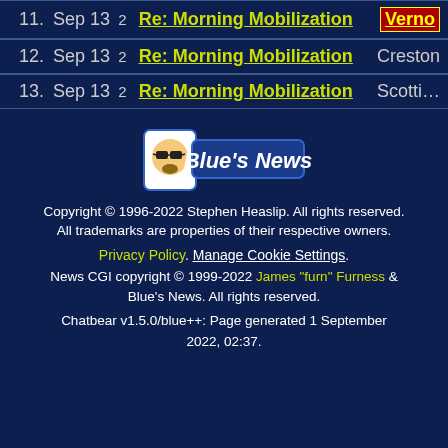11. Sep 13 2 Re: Morning Mobilization Verno
12. Sep 13 2 Re: Morning Mobilization Creston
13. Sep 13 2 Re: Morning Mobilization Scotti...
[Figure (logo): Blue's News logo with cartoon face wearing sunglasses]
Copyright © 1996-2022 Stephen Heaslip. All rights reserved. All trademarks are properties of their respective owners. Privacy Policy. Manage Cookie Settings. News CGI copyright © 1999-2022 James "furn" Furness & Blue's News. All rights reserved. Chatbear v1.5.0/blue++: Page generated 1 September 2022, 02:37.